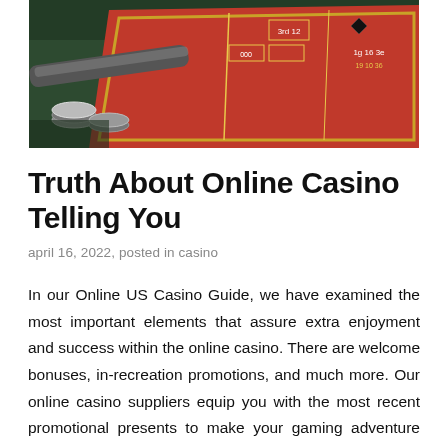[Figure (photo): Casino table with red felt layout showing card game markings (3rd, 12, etc.), gold trim, poker chips, and a gun barrel visible in the background on a dark green surface.]
Truth About Online Casino Telling You
april 16, 2022, posted in casino
In our Online US Casino Guide, we have examined the most important elements that assure extra enjoyment and success within the online casino. There are welcome bonuses, in-recreation promotions, and much more. Our online casino suppliers equip you with the most recent promotional presents to make your gaming adventure even more fulfilling. We bring exclusive fishing video games from leading providers